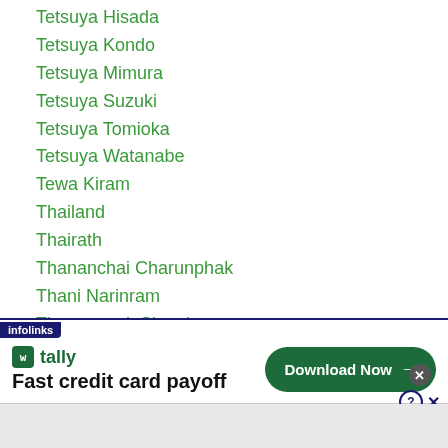Tetsuya Hisada
Tetsuya Kondo
Tetsuya Mimura
Tetsuya Suzuki
Tetsuya Tomioka
Tetsuya Watanabe
Tewa Kiram
Thailand
Thairath
Thananchai Charunphak
Thani Narinram
Thanongsak Simsri
The Clash In Cotai
Theeraphan Polsongkarm
The-fight
The Greatest Girls
[Figure (screenshot): Infolinks advertisement banner for Tally app: 'Fast credit card payoff' with a green 'Download Now' button and close/help icons.]